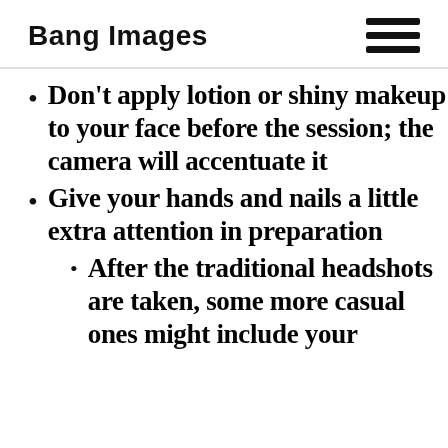Bang Images
Don't apply lotion or shiny makeup to your face before the session; the camera will accentuate it
Give your hands and nails a little extra attention in preparation
After the traditional headshots are taken, some more casual ones might include your